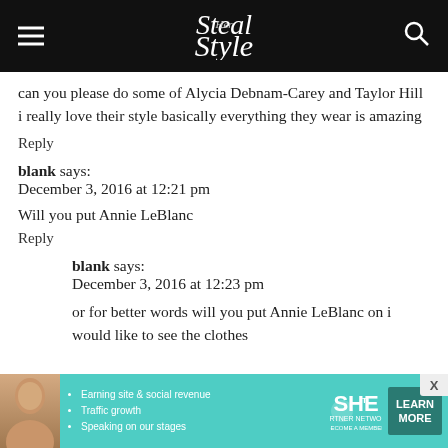Steal Her Style
can you please do some of Alycia Debnam-Carey and Taylor Hill i really love their style basically everything they wear is amazing
Reply
blank says:
December 3, 2016 at 12:21 pm
Will you put Annie LeBlanc
Reply
blank says:
December 3, 2016 at 12:23 pm
or for better words will you put Annie LeBlanc on i would like to see the clothes
[Figure (infographic): Advertisement banner for SHE Partner Network featuring a woman, bullet points about Earning site & social revenue, Traffic growth, Speaking on our stages, SHE logo, PARTNER NETWORK, BECOME A MEMBER, and a LEARN MORE button]